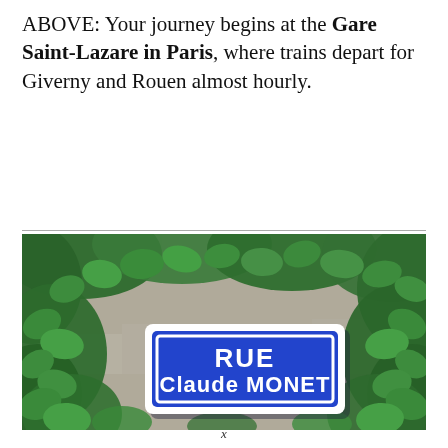ABOVE: Your journey begins at the Gare Saint-Lazare in Paris, where trains depart for Giverny and Rouen almost hourly.
[Figure (photo): Photograph of a French blue street sign reading 'RUE Claude MONET', surrounded by lush green ivy leaves climbing a stone wall.]
x